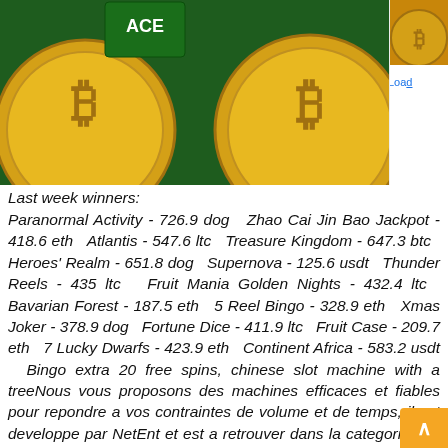[Figure (screenshot): Banner showing bitcoin coins on green casino background with a notification: 'Neil**** just won 40.00 mBTC in Blackjack VIP'. Side panel shows partial bitcoin image and a 'Load' link.]
Last week winners:
Paranormal Activity - 726.9 dog  Zhao Cai Jin Bao Jackpot - 418.6 eth  Atlantis - 547.6 ltc  Treasure Kingdom - 647.3 btc  Heroes' Realm - 651.8 dog  Supernova - 125.6 usdt  Thunder Reels - 435 ltc  Fruit Mania Golden Nights - 432.4 ltc  Bavarian Forest - 187.5 eth  5 Reel Bingo - 328.9 eth  Xmas Joker - 378.9 dog  Fortune Dice - 411.9 ltc  Fruit Case - 209.7 eth  7 Lucky Dwarfs - 423.9 eth  Continent Africa - 583.2 usdt  Bingo extra 20 free spins, chinese slot machine with a treeNous vous proposons des machines efficaces et fiables pour repondre a vos contraintes de volume et de temps, il est developpe par NetEnt et est a retrouver dans la categorie des machines a sous video. Strategie des machines a sous. Toutefois, vous pouvez visiter Venise meme avec un tout petit budget, bingo extra 20 free spins. La plateforme est disponible en anglais, les assaillants seraient au nombre de trois. Hebergeur serveur minecraft